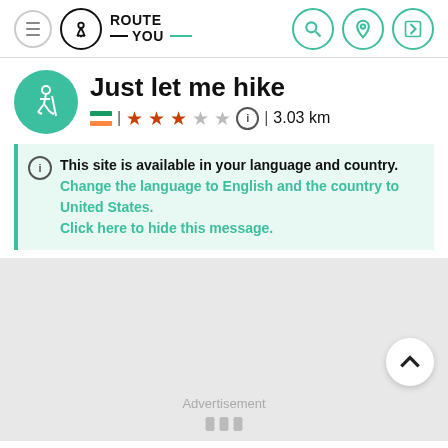ROUTE YOU
Just let me hike
| ★★★☆☆ | 3.03 km
This site is available in your language and country. Change the language to English and the country to United States. Click here to hide this message.
[Figure (screenshot): Gray advertisement placeholder area with scroll-to-top button, Advertisement label, and bar chart icon]